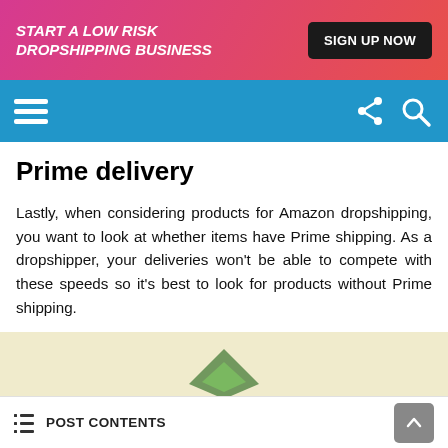START A LOW RISK DROPSHIPPING BUSINESS | SIGN UP NOW
[Figure (screenshot): Blue navigation bar with hamburger menu icon on left and share/search icons on right]
Prime delivery
Lastly, when considering products for Amazon dropshipping, you want to look at whether items have Prime shipping. As a dropshipper, your deliveries won't be able to compete with these speeds so it's best to look for products without Prime shipping.
[Figure (illustration): Partial view of an Amazon-related illustration on a light yellow/cream background showing a green diamond/arrow shape at the bottom]
POST CONTENTS